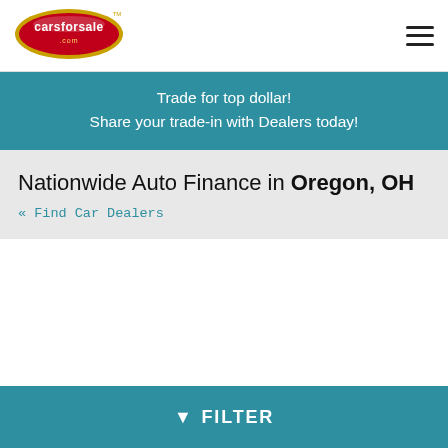[Figure (logo): carsforsale.com oval red and gold logo]
Trade for top dollar!
Share your trade-in with Dealers today!
Nationwide Auto Finance in Oregon, OH
« Find Car Dealers
Nationwide Auto Finance
▼ FILTER